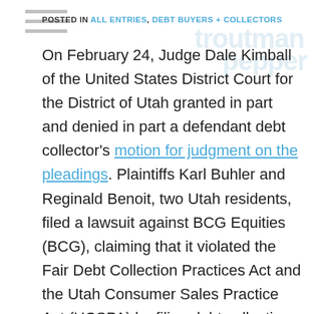POSTED IN ALL ENTRIES, DEBT BUYERS + COLLECTORS
On February 24, Judge Dale Kimball of the United States District Court for the District of Utah granted in part and denied in part a defendant debt collector's motion for judgment on the pleadings. Plaintiffs Karl Buhler and Reginald Benoit, two Utah residents, filed a lawsuit against BCG Equities (BCG), claiming that it violated the Fair Debt Collection Practices Act and the Utah Consumer Sales Practice Act (UCSPA) by filing debt collection actions against each plaintiff individually, despite not being registered with the State of Utah as a collection agency. While the Court agreed